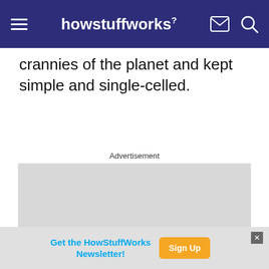howstuffworks
crannies of the planet and kept simple and single-celled.
Advertisement
[Figure (other): Grey advertisement placeholder box]
[Figure (infographic): Bottom banner: Get the HowStuffWorks Newsletter! Sign Up button with close X]